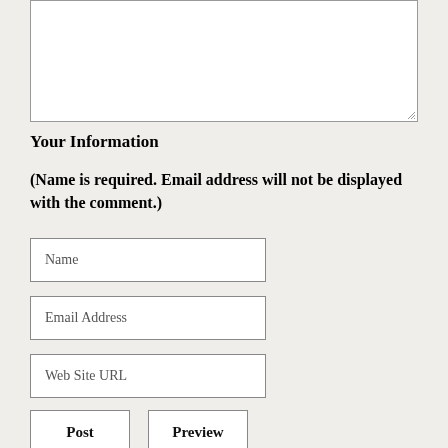[Figure (screenshot): A textarea input field (empty, white background, with resize handle at bottom-right)]
Your Information
(Name is required. Email address will not be displayed with the comment.)
[Figure (screenshot): Text input field with placeholder 'Name']
[Figure (screenshot): Text input field with placeholder 'Email Address']
[Figure (screenshot): Text input field with placeholder 'Web Site URL']
[Figure (screenshot): Two buttons labeled 'Post' and 'Preview']